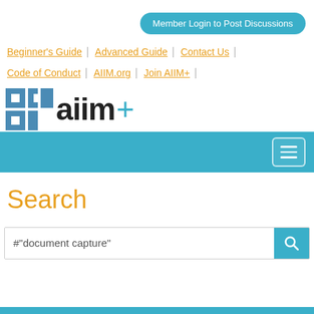Member Login to Post Discussions
Beginner's Guide | Advanced Guide | Contact Us | Code of Conduct | AIIM.org | Join AIIM+
[Figure (logo): AIIM+ logo with blue grid icon and teal plus sign]
Search
#"document capture"